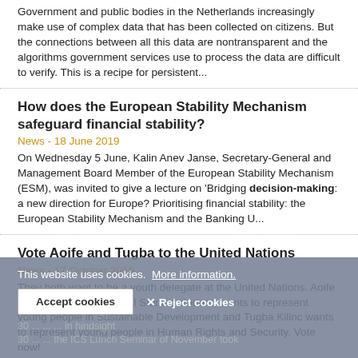Government and public bodies in the Netherlands increasingly make use of complex data that has been collected on citizens. But the connections between all this data are nontransparent and the algorithms government services use to process the data are difficult to verify. This is a recipe for persistent...
How does the European Stability Mechanism safeguard financial stability?
News - 18 June 2019
On Wednesday 5 June, Kalin Anev Janse, Secretary-General and Management Board Member of the European Stability Mechanism (ESM), was invited to give a lecture on 'Bridging decision-making: a new direction for Europe? Prioritising financial stability: the European Stability Mechanism and the Banking U...
Vote Aoife and Tugba to the United Nations
News - 17 October 2019
They both want to be a youth delegate at the United Nations. Aoife Fleming, an International Studies student, wants to represent young people in Sustainable Development and Tugba Kilinc wants to represent young people in Human Rights and Security. Vote now!
This website uses cookies. More information.
Accept cookies
✕ Reject cookies